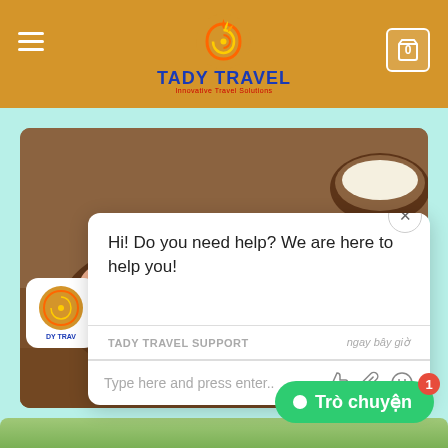[Figure (logo): Tady Travel website header with golden/orange background, hamburger menu on left, spiral logo in center with text TADY TRAVEL, cart icon on right]
[Figure (photo): Food photo showing Japanese sashimi or seafood dish with vegetables]
Hi! Do you need help? We are here to help you!
TADY TRAVEL SUPPORT · ngay bây giờ
Type here and press enter..
Top 12 mos
6 June, 2021
Trò chuyện